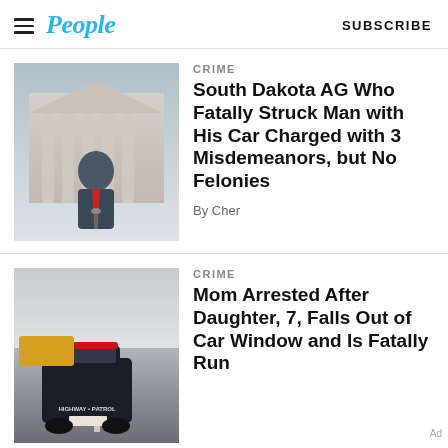People — SUBSCRIBE
[Figure (photo): Man in suit with red tie speaking at podium in front of government building]
CRIME
South Dakota AG Who Fatally Struck Man with His Car Charged with 3 Misdemeanors, but No Felonies
By Cher
[Figure (photo): Highway patrol car on a multi-lane highway]
CRIME
Mom Arrested After Daughter, 7, Falls Out of Car Window and Is Fatally Run